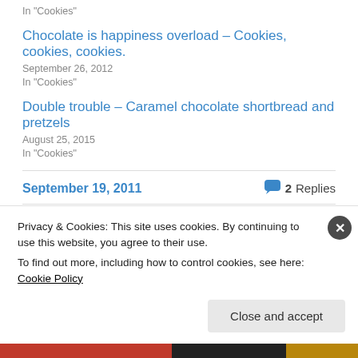In "Cookies"
Chocolate is happiness overload – Cookies, cookies, cookies.
September 26, 2012
In "Cookies"
Double trouble – Caramel chocolate shortbread and pretzels
August 25, 2015
In "Cookies"
September 19, 2011
2 Replies
Privacy & Cookies: This site uses cookies. By continuing to use this website, you agree to their use.
To find out more, including how to control cookies, see here: Cookie Policy
Close and accept